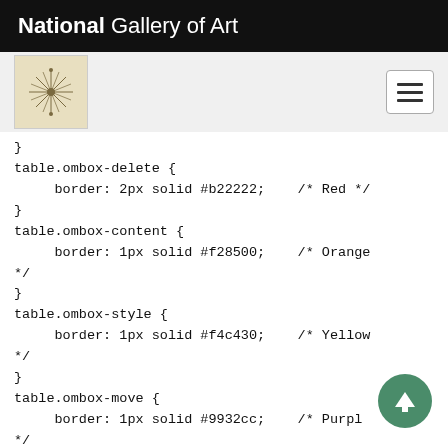National Gallery of Art
[Figure (logo): National Gallery of Art logo - decorative starburst/compass rose on tan background]
}
table.ombox-delete {
    border: 2px solid #b22222;    /* Red */
}
table.ombox-content {
    border: 1px solid #f28500;    /* Orange
*/
}
table.ombox-style {
    border: 1px solid #f4c430;    /* Yellow
*/
}
table.ombox-move {
    border: 1px solid #9932cc;    /* Purpl
*/
}
table.ombox-protection {